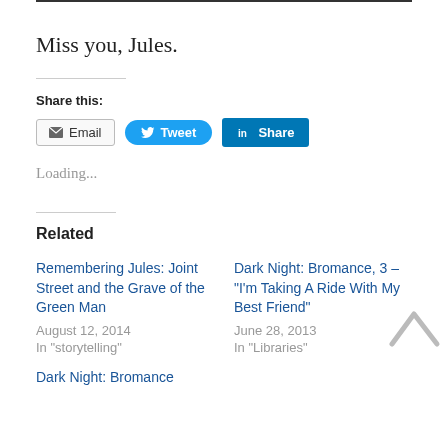Miss you, Jules.
Share this:
[Figure (infographic): Share buttons: Email, Tweet (Twitter), Share (LinkedIn)]
Loading...
Related
Remembering Jules: Joint Street and the Grave of the Green Man
August 12, 2014
In "storytelling"
Dark Night: Bromance, 3 – “I’m Taking A Ride With My Best Friend”
June 28, 2013
In "Libraries"
Dark Night: Bromance